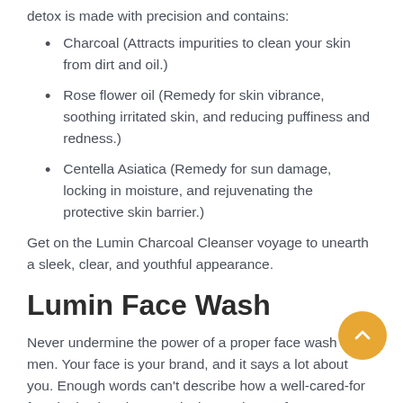detox is made with precision and contains:
Charcoal (Attracts impurities to clean your skin from dirt and oil.)
Rose flower oil (Remedy for skin vibrance, soothing irritated skin, and reducing puffiness and redness.)
Centella Asiatica (Remedy for sun damage, locking in moisture, and rejuvenating the protective skin barrier.)
Get on the Lumin Charcoal Cleanser voyage to unearth a sleek, clear, and youthful appearance.
Lumin Face Wash
Never undermine the power of a proper face wash for men. Your face is your brand, and it says a lot about you. Enough words can't describe how a well-cared-for face looks; it's always at its best. Choose from over ten skincare products.